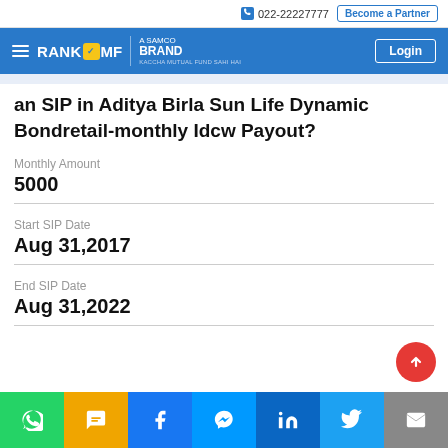022-22227777  Become a Partner
[Figure (logo): RankMF - A Samco Brand logo in blue navigation bar with hamburger menu and Login button]
an SIP in Aditya Birla Sun Life Dynamic Bondretail-monthly Idcw Payout?
Monthly Amount
5000
Start SIP Date
Aug 31,2017
End SIP Date
Aug 31,2022